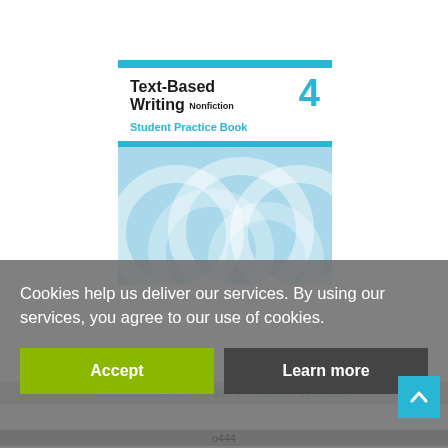[Figure (illustration): Book cover for 'Text-Based Writing Nonfiction 4 Student Practice Book' showing title text and blue decorative circles pattern on the cover, with cyan/blue accent bars]
Cookies help us deliver our services. By using our services, you agree to our use of cookies.
Accept
Learn more
Text-Based Writing Grade 4 - Student Workbook
o444